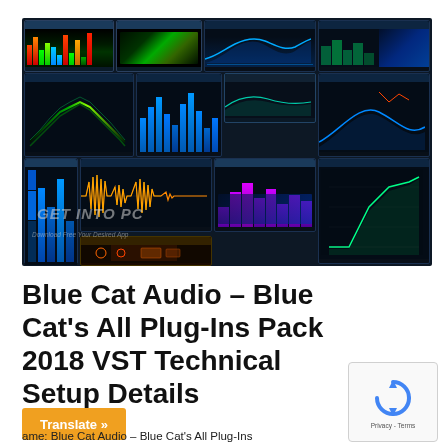[Figure (screenshot): Screenshot of Blue Cat Audio - Blue Cat's All Plug-Ins Pack 2018 VST audio plugin collection showing multiple plugin windows with spectrum analyzers, EQ visualizers, waveform displays, VU meters, and other audio analysis tools on dark blue backgrounds. Watermark 'GET INTO PC' visible.]
Blue Cat Audio – Blue Cat's All Plug-Ins Pack 2018 VST Technical Setup Details
[Figure (logo): reCAPTCHA logo - blue circular arrows icon with 'Privacy - Terms' text below]
Translate »
ame: Blue Cat Audio – Blue Cat's All Plug-Ins